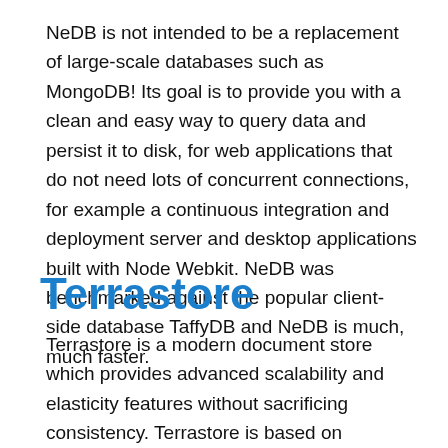NeDB is not intended to be a replacement of large-scale databases such as MongoDB! Its goal is to provide you with a clean and easy way to query data and persist it to disk, for web applications that do not need lots of concurrent connections, for example a continuous integration and deployment server and desktop applications built with Node Webkit. NeDB was benchmarked against the popular client-side database TaffyDB and NeDB is much, much faster.
Terrastore
Terrastore is a modern document store which provides advanced scalability and elasticity features without sacrificing consistency. Terrastore is based on Terracotta, so it relies on an industry-proven, fast (and cool) clustering technology. Terrastore is accessed through